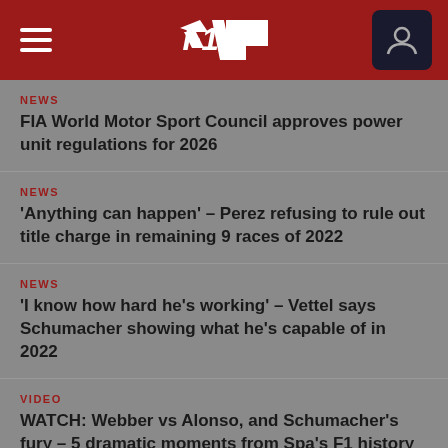F1 — Formula 1 News Header Navigation
NEWS
FIA World Motor Sport Council approves power unit regulations for 2026
NEWS
'Anything can happen' – Perez refusing to rule out title charge in remaining 9 races of 2022
NEWS
'I know how hard he's working' – Vettel says Schumacher showing what he's capable of in 2022
VIDEO
WATCH: Webber vs Alonso, and Schumacher's fury – 5 dramatic moments from Spa's F1 history